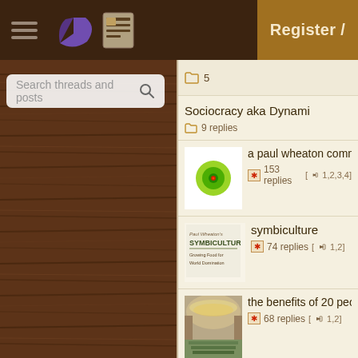Forum header bar with hamburger menu, pie icon, news icon, and Register button
Search threads and posts
Sociocracy aka Dynami... | 9 replies
a paul wheaton commu... | 153 replies [→□ 1,2,3,4]
symbiculture | 74 replies [→□ 1,2]
the benefits of 20 peop... | 68 replies [→□ 1,2]